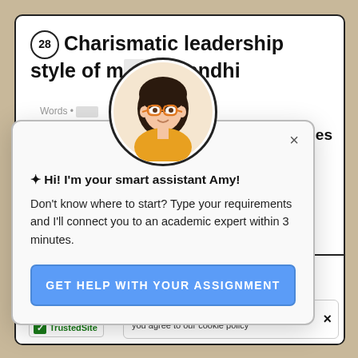28 Charismatic leadership style of mahatma gandhi
Words •
ples
one of the atic leader only one our nation. s not having ained by age looking e country.
Mahatma Gandhi ga... and positive......
[Figure (illustration): Circular avatar illustration of a young woman with dark hair, orange-rimmed glasses, and a yellow top, used as a chatbot assistant avatar named Amy]
✦ Hi! I'm your smart assistant Amy!
Don't know where to start? Type your requirements and I'll connect you to an academic expert within 3 minutes.
GET HELP WITH YOUR ASSIGNMENT
Studymoose.com uses cookies. By continuing you agree to our cookie policy
TrustedSite
HUMAN NAT